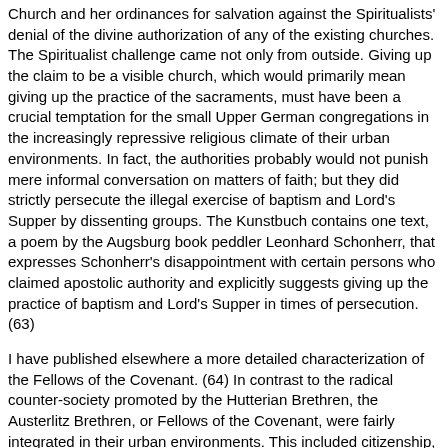Church and her ordinances for salvation against the Spiritualists' denial of the divine authorization of any of the existing churches. The Spiritualist challenge came not only from outside. Giving up the claim to be a visible church, which would primarily mean giving up the practice of the sacraments, must have been a crucial temptation for the small Upper German congregations in the increasingly repressive religious climate of their urban environments. In fact, the authorities probably would not punish mere informal conversation on matters of faith; but they did strictly persecute the illegal exercise of baptism and Lord's Supper by dissenting groups. The Kunstbuch contains one text, a poem by the Augsburg book peddler Leonhard Schonherr, that expresses Schonherr's disappointment with certain persons who claimed apostolic authority and explicitly suggests giving up the practice of baptism and Lord's Supper in times of persecution. (63)
I have published elsewhere a more detailed characterization of the Fellows of the Covenant. (64) In contrast to the radical counter-society promoted by the Hutterian Brethren, the Austerlitz Brethren, or Fellows of the Covenant, were fairly integrated in their urban environments. This included citizenship, guild membership and participation in communal self-administration, all of which required a readiness to take oaths and an affirmation of the legitimacy of temporal authority. The theological rationale of the Austerlitzers must have been expounded in a printed Confession of Faith, which Kilian Auerbacher announced in his letter to Bucer was soon to appear, and copies of which were available to the Hutterite chronicler as well as to Johann Weisenkircher. (65) Unfortunately, copies of that confession have not yet been found, nor are there any traces of the Sixteen Articles of Faith of the Church in Moravia that Marpeck mentioned as a dogmatic authority in his treatment of original sin in the Response to Schwenckfeld. (66)